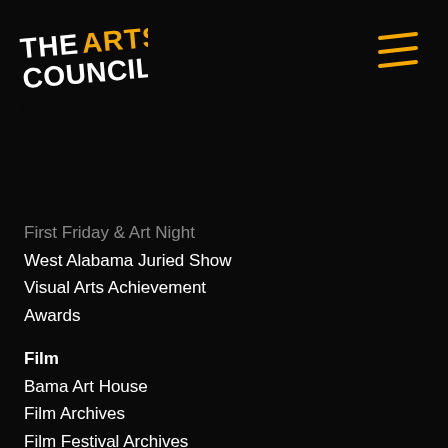[Figure (logo): The Arts Council logo in white and yellow/gold on black background, top-left corner]
[Figure (illustration): Hamburger menu icon (three diagonal yellow lines) in top-right corner]
First Friday & Art Night
West Alabama Juried Show
Visual Arts Achievement Awards
Film
Bama Art House
Film Archives
Film Festival Archives
Rental Information
Cultural Arts Center
BAMA Theatre
Offices